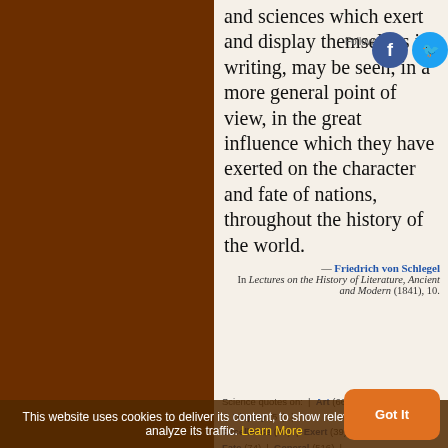and sciences which exert and display themselves in writing, may be seen, in a more general point of view, in the great influence which they have exerted on the character and fate of nations, throughout the history of the world.
— Friedrich von Schlegel In Lectures on the History of Literature, Ancient and Modern (1841), 10.
Science quotes on: | Art (664) | Character (252) | Display (57) | Excellence (40) | Exert (39) | Fate (74) | General (516) | Great (1579) | History (694) | Importance (294) | Influence | Merit (559) | Nation (205) | Point (583) | Point | Themselves (453) | Throughout (98) | View (494) | World (1822) | Writing (192)
This website uses cookies to deliver its content, to show relevant ads and to analyze its traffic. Learn More